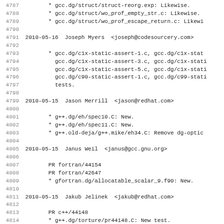4787	* gcc.dg/struct/struct-reorg.exp: Likewise.
4788	* gcc.dg/struct/wo_prof_empty_str.c: Likewise.
4789	* gcc.dg/struct/wo_prof_escape_return.c: Likewi
4790
4791 2010-05-16  Joseph Myers  <joseph@codesourcery.com>
4792
4793	* gcc.dg/c1x-static-assert-1.c, gcc.dg/c1x-stat
4794	  gcc.dg/c1x-static-assert-3.c, gcc.dg/c1x-stati
4795	  gcc.dg/c1x-static-assert-5.c, gcc.dg/c1x-stati
4796	  gcc.dg/c90-static-assert-1.c, gcc.dg/c99-stati
4797	  tests.
4798
4799 2010-05-15  Jason Merrill  <jason@redhat.com>
4800
4801	* g++.dg/eh/spec10.C: New.
4802	* g++.dg/eh/spec11.C: New.
4803	* g++.old-deja/g++.mike/eh34.C: Remove dg-optic
4804
4805 2010-05-15  Janus Weil  <janus@gcc.gnu.org>
4806
4807	  PR fortran/44154
4808	  PR fortran/42647
4809	* gfortran.dg/allocatable_scalar_9.f90: New.
4810
4811 2010-05-15  Jakub Jelinek  <jakub@redhat.com>
4812
4813	  PR c++/44148
4814	* g++.dg/torture/pr44148.C: New test.
4815
4816 2010-05-15  Joseph Myers  <joseph@codesourcery.com>
4817
4818	* gcc.dg/c1x-anon-struct-1.c, gcc.dg/c1x-anon-s